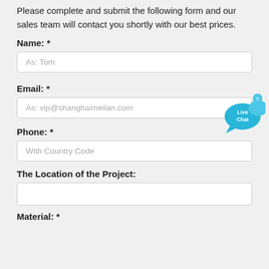Please complete and submit the following form and our sales team will contact you shortly with our best prices.
Name: *
As: Tom
Email: *
As: vip@shanghaimeilan.com
Phone: *
With Country Code
The Location of the Project:
Material: *